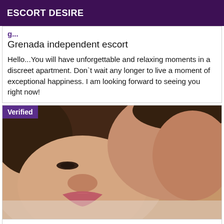ESCORT DESIRE
Grenada independent escort
Hello...You will have unforgettable and relaxing moments in a discreet apartment. Don`t wait any longer to live a moment of exceptional happiness. I am looking forward to seeing you right now!
[Figure (photo): Close-up photo of two people in an intimate pose, with a 'Verified' badge overlay in the top-left corner]
Escort boy for women in the Grenada